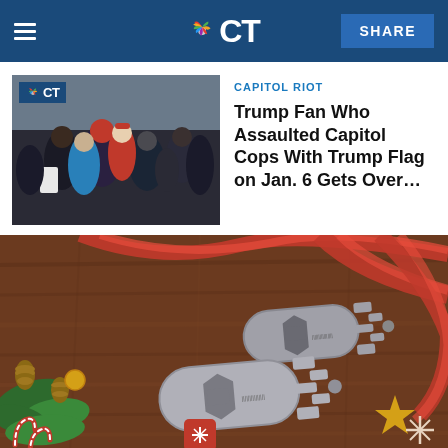CT NBC Connecticut — SHARE
[Figure (photo): Photo of a crowd at the Capitol riot, with people in winter clothing. NBC CT logo badge overlaid in top-left corner.]
CAPITOL RIOT
Trump Fan Who Assaulted Capitol Cops With Trump Flag on Jan. 6 Gets Over...
[Figure (photo): Advertisement photo of two metal multi-tool keys shaped like house keys on a wooden table with Christmas decorations — red ribbons, pine cones, candy canes, and snowflake ornaments.]